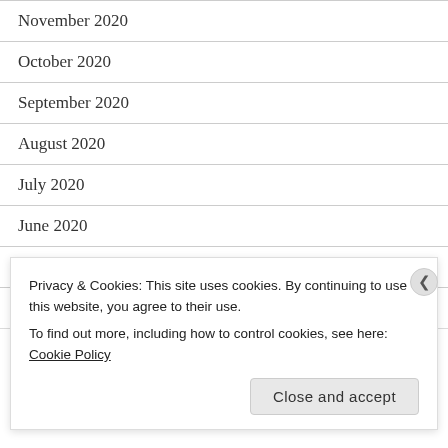November 2020
October 2020
September 2020
August 2020
July 2020
June 2020
May 2020
April 2020
March 2020
Privacy & Cookies: This site uses cookies. By continuing to use this website, you agree to their use.
To find out more, including how to control cookies, see here: Cookie Policy
Close and accept